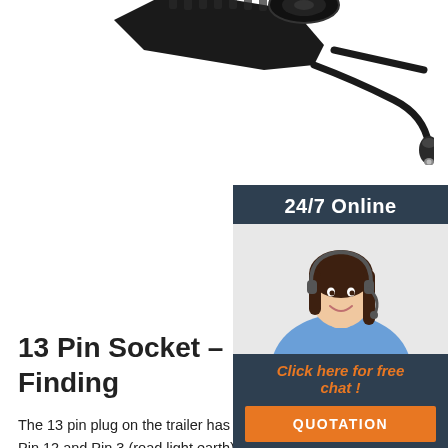[Figure (photo): Black car charger / cigarette lighter plug adapter with cable on white background]
[Figure (infographic): 24/7 Online chat widget with female customer service agent wearing headset, 'Click here for free chat!' text and orange QUOTATION button]
13 Pin Socket – Basic Fault Finding
The 13 pin plug on the trailer has a link between Pin 12 and Pin 3 (road light earth) so when you plug-in the trailer or caravan, it 'shorts' pin 12 of the towing vehicles socket to earth and the vehicle's ECU detects this and activates a Trailer Stability Program on the vehicle. The full ISO standard is ISO 1446 for 13 pin connections.
Get Price